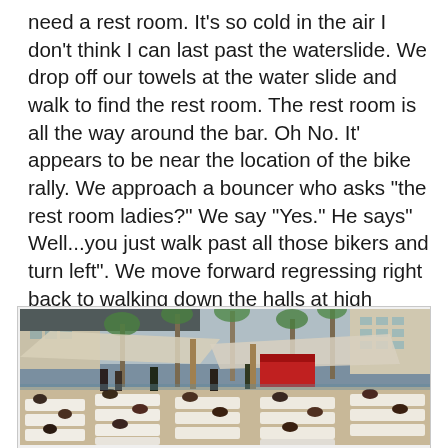need a rest room. It's so cold in the air I don't think I can last past the waterslide. We drop off our towels at the water slide and walk to find the rest room. The rest room is all the way around the bar. Oh No. It' appears to be near the location of the bike rally. We approach a bouncer who asks "the rest room ladies?" We say "Yes." He says" Well...you just walk past all those bikers and turn left". We move forward regressing right back to walking down the halls at high school. Only worse, we really ARE in our bathing suits. I hear my daughter say "I hate you both". I hear the bouncer say "Work it ladies, work it work it!"
[Figure (photo): Outdoor hotel pool area with many people lounging on white chaise lounges, palm trees, shade structures/canopies, and hotel buildings in the background. Appears to be a Las Vegas resort pool party scene.]